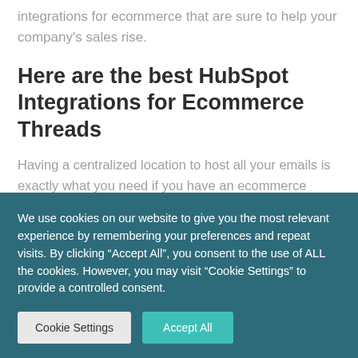integrations for ecommerce that are sure to help your company's sales rise.
Here are the best HubSpot Integrations for Ecommerce Threads
Having a centralized location to host all your emails is exactly what you need if you have an ecommerce business. Not only can a centralized
We use cookies on our website to give you the most relevant experience by remembering your preferences and repeat visits. By clicking “Accept All”, you consent to the use of ALL the cookies. However, you may visit “Cookie Settings” to provide a controlled consent.